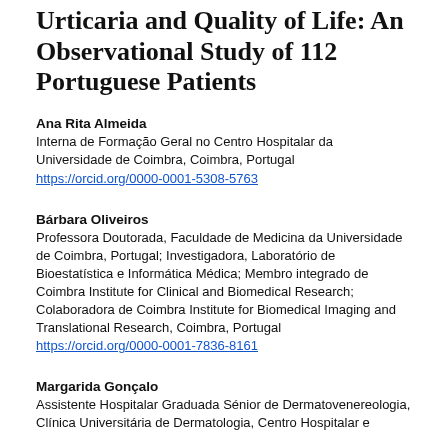Urticaria and Quality of Life: An Observational Study of 112 Portuguese Patients
Ana Rita Almeida
Interna de Formação Geral no Centro Hospitalar da Universidade de Coimbra, Coimbra, Portugal
https://orcid.org/0000-0001-5308-5763
Bárbara Oliveiros
Professora Doutorada, Faculdade de Medicina da Universidade de Coimbra, Portugal; Investigadora, Laboratório de Bioestatística e Informática Médica; Membro integrado de Coimbra Institute for Clinical and Biomedical Research; Colaboradora de Coimbra Institute for Biomedical Imaging and Translational Research, Coimbra, Portugal
https://orcid.org/0000-0001-7836-8161
Margarida Gonçalo
Assistente Hospitalar Graduada Sénior de Dermatovenereologia, Clínica Universitária de Dermatologia, Centro Hospitalar e